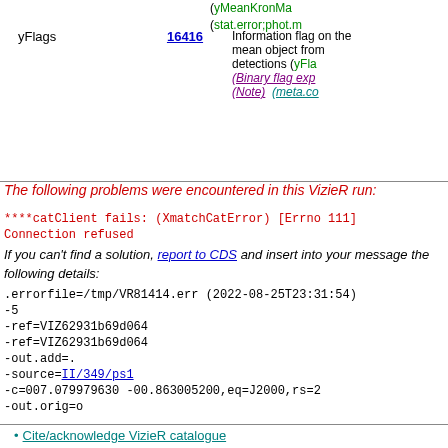(yMeanKronMa... (stat.error;phot.m...
| Name | Value | Description |
| --- | --- | --- |
| yFlags | 16416 | Information flag on the mean object from detections (yFlag... (Binary flag exp... (Note) (meta.co... |
The following problems were encountered in this VizieR run:
****catClient fails: (XmatchCatError) [Errno 111] Connection refused
If you can't find a solution, report to CDS and insert into your message the following details:
.errorfile=/tmp/VR81414.err (2022-08-25T23:31:54)
-5
-ref=VIZ62931b69d064
-ref=VIZ62931b69d064
-out.add=.
-source=II/349/ps1
-c=007.079979630 -00.863005200,eq=J2000,rs=2
-out.orig=o
Cite/acknowledge VizieR catalogue